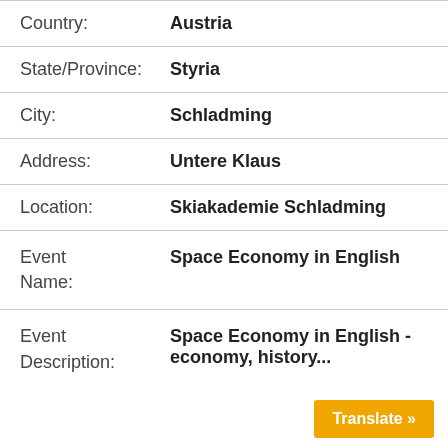Country: Austria
State/Province: Styria
City: Schladming
Address: Untere Klaus
Location: Skiakademie Schladming
Event Name: Space Economy in English
Event Description: Space Economy in English - economy, history...